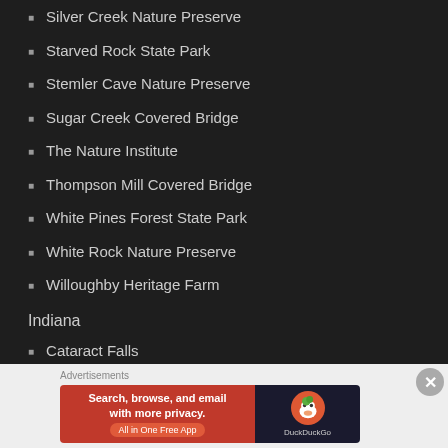Silver Creek Nature Preserve
Starved Rock State Park
Stemler Cave Nature Preserve
Sugar Creek Covered Bridge
The Nature Institute
Thompson Mill Covered Bridge
White Pines Forest State Park
White Rock Nature Preserve
Willoughby Heritage Farm
Indiana
Cataract Falls
Charlestown State Park
Clifty Falls State Park
Covered Bridges
[Figure (infographic): DuckDuckGo advertisement banner: orange left panel with text 'Search, browse, and email with more privacy. All in One Free App', dark right panel with DuckDuckGo logo and name.]